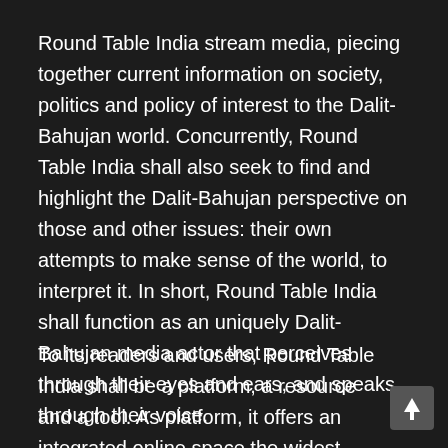Round Table India stream media, piecing together current information on society, politics and policy of interest to the Dalit-Bahujan world. Concurrently, Round Table India shall also seek to find and highlight the Dalit-Bahujan perspective on those and other issues: their own attempts to make sense of the world, to interpret it. In short, Round Table India shall function as an uniquely Dalit-Bahujan media actor that perceives through their eyes and ears, and speaks through their voice.
To its readers and users, Round Table India shall be a platform, a resource and a tool. As platform, it offers an integrated online space the widest expression of Dalit-Bahujan voice